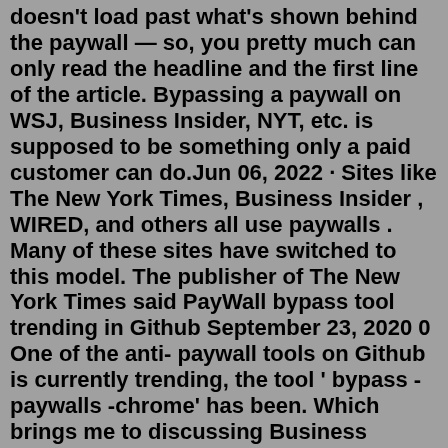doesn't load past what's shown behind the paywall — so, you pretty much can only read the headline and the first line of the article. Bypassing a paywall on WSJ, Business Insider, NYT, etc. is supposed to be something only a paid customer can do.Jun 06, 2022 · Sites like The New York Times, Business Insider , WIRED, and others all use paywalls . Many of these sites have switched to this model. The publisher of The New York Times said PayWall bypass tool trending in Github September 23, 2020 0 One of the anti- paywall tools on Github is currently trending, the tool ' bypass - paywalls -chrome' has been. Which brings me to discussing Business Insider's approach to paid content — an approach that I think other publishers should consider when assessing Meanwhile, Axel Springer didn't wait long post-acquisition to begin developing Business Insider's paywall strategy. To streamline this process, it...Jun 06, 2022 · Bypass Paywalls . Bypass Paywalls is a web browser extension to help bypass paywalls for selected sites. Installation Instructions. Google Chrome /